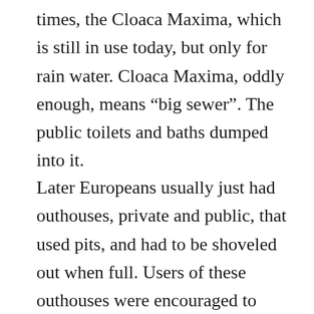times, the Cloaca Maxima, which is still in use today, but only for rain water. Cloaca Maxima, oddly enough, means “big sewer”. The public toilets and baths dumped into it.
Later Europeans usually just had outhouses, private and public, that used pits, and had to be shoveled out when full. Users of these outhouses were encouraged to urinate into buckets, which were emptied into vats